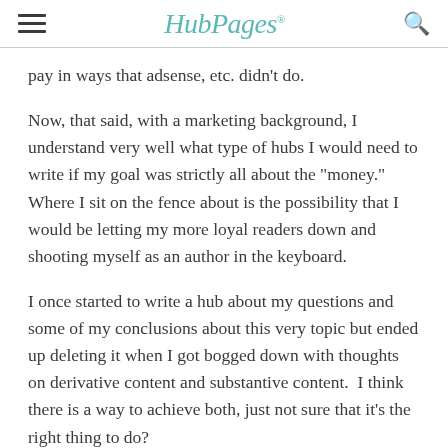HubPages
pay in ways that adsense, etc. didn't do.
Now, that said, with a marketing background, I understand very well what type of hubs I would need to write if my goal was strictly all about the "money." Where I sit on the fence about is the possibility that I would be letting my more loyal readers down and shooting myself as an author in the keyboard.
I once started to write a hub about my questions and some of my conclusions about this very topic but ended up deleting it when I got bogged down with thoughts on derivative content and substantive content.  I think there is a way to achieve both, just not sure that it's the right thing to do?